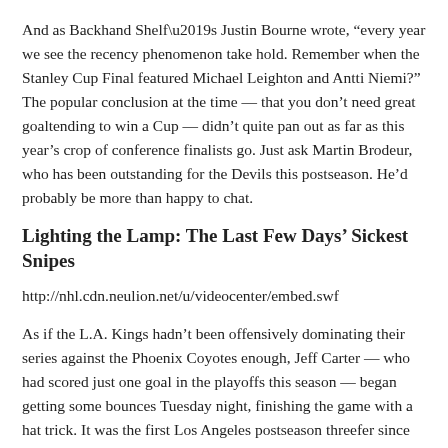And as Backhand Shelf’s Justin Bourne wrote, “every year we see the recency phenomenon take hold. Remember when the Stanley Cup Final featured Michael Leighton and Antti Niemi?” The popular conclusion at the time — that you don’t need great goaltending to win a Cup — didn’t quite pan out as far as this year’s crop of conference finalists go. Just ask Martin Brodeur, who has been outstanding for the Devils this postseason. He’d probably be more than happy to chat.
Lighting the Lamp: The Last Few Days’ Sickest Snipes
http://nhl.cdn.neulion.net/u/videocenter/embed.swf
As if the L.A. Kings hadn’t been offensively dominating their series against the Phoenix Coyotes enough, Jeff Carter — who had scored just one goal in the playoffs this season — began getting some bounces Tuesday night, finishing the game with a hat trick. It was the first Los Angeles postseason threefer since Wayne Gretzky